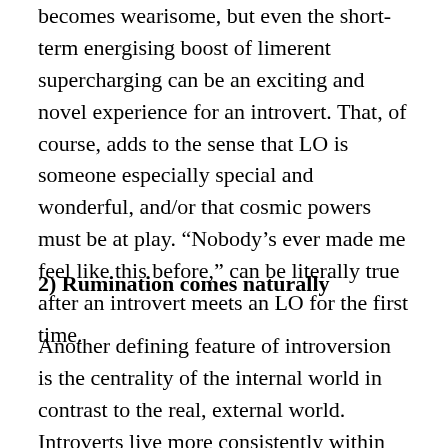becomes wearisome, but even the short-term energising boost of limerent supercharging can be an exciting and novel experience for an introvert. That, of course, adds to the sense that LO is someone especially special and wonderful, and/or that cosmic powers must be at play. “Nobody’s ever made me feel like this before,” can be literally true after an introvert meets an LO for the first time.
2) Rumination comes naturally
Another defining feature of introversion is the centrality of the internal world in contrast to the real, external world. Introverts live more consistently within their imaginations than in the material world. The external world is a source of